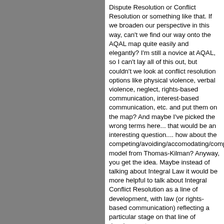Dispute Resolution or Conflict Resolution or something like that. If we broaden our perspective in this way, can't we find our way onto the AQAL map quite easily and elegantly? I'm still a novice at AQAL, so I can't lay all of this out, but couldn't we look at conflict resolution options like physical violence, verbal violence, neglect, rights-based communication, interest-based communication, etc. and put them on the map? And maybe I've picked the wrong terms here... that would be an interesting question.... how about the competing/avoiding/accomodating/compromising model from Thomas-Kilman? Anyway, you get the idea. Maybe instead of talking about Integral Law it would be more helpful to talk about Integral Conflict Resolution as a line of development, with law (or rights-based communication) reflecting a particular stage on that line of development.

I think mediation, for example, is a